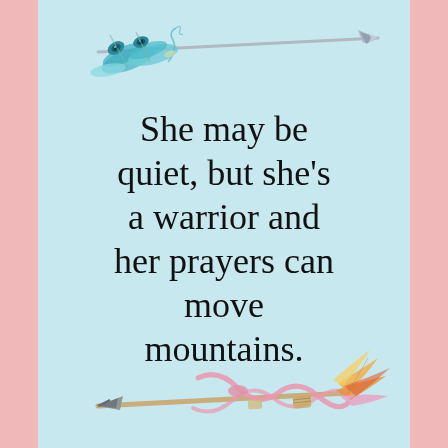[Figure (illustration): Top arrow with teal/green peacock feathers and decorative elements pointing right, illustrated in watercolor style]
She may be quiet, but she's a warrior and her prayers can move mountains.
[Figure (illustration): Bottom arrow pointing left with pink ribbon/bow and warm-colored feathers (orange/yellow/pink), illustrated in watercolor style]